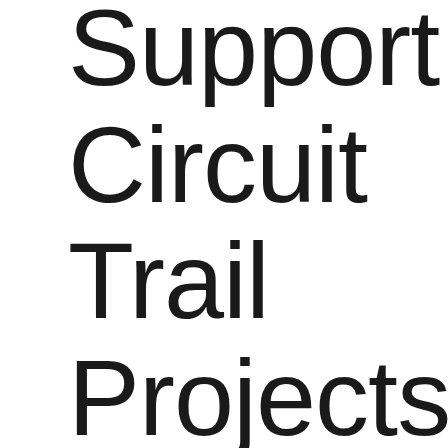Support Circuit Trail Projects for Federal